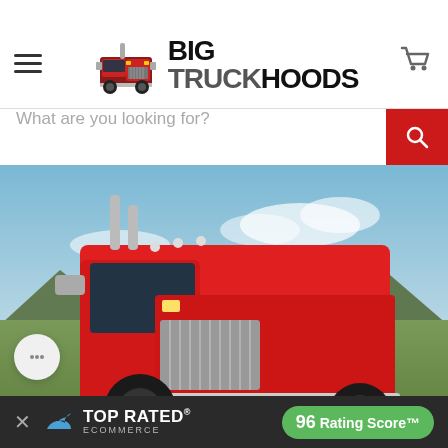[Figure (logo): Big Truck Hoods logo with truck icon and bold text BIG TRUCKHOODS]
[Figure (screenshot): Search bar with placeholder text 'What are you looking for?' and red search button with magnifying glass icon]
[Figure (photo): Large red semi-truck (Peterbilt style) photographed from the front-left angle on a rural road with mountains and blue sky in background]
TOP RATED ECOMMERCE
96 Rating Score™